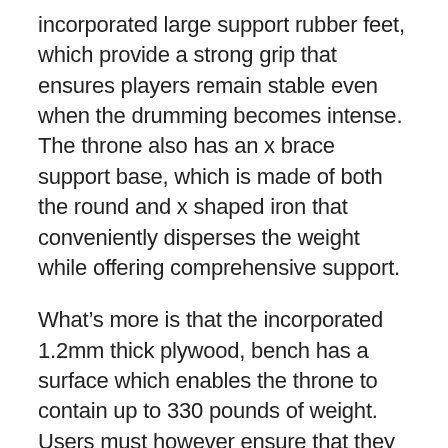incorporated large support rubber feet, which provide a strong grip that ensures players remain stable even when the drumming becomes intense. The throne also has an x brace support base, which is made of both the round and x shaped iron that conveniently disperses the weight while offering comprehensive support.
What's more is that the incorporated 1.2mm thick plywood, bench has a surface which enables the throne to contain up to 330 pounds of weight. Users must however ensure that they sit at the center of the throne. Sporting a spiral height adjustment, drummers can easily customize the orientation of their bodies, as they perform.